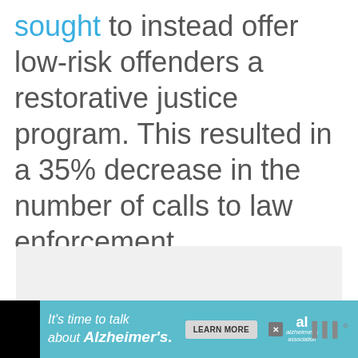sought to instead offer low-risk offenders a restorative justice program. This resulted in a 35% decrease in the number of calls to law enforcement.
[Figure (other): Grey placeholder box, likely an ad or embedded content area]
[Figure (other): Advertisement banner at bottom: 'It's time to talk about Alzheimer's.' with LEARN MORE button and Alzheimer's association logo on black background with teal ad section]